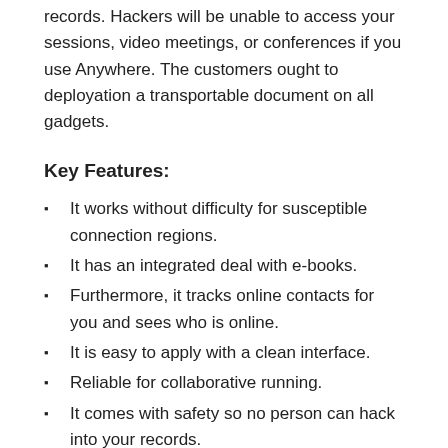records. Hackers will be unable to access your sessions, video meetings, or conferences if you use Anywhere. The customers ought to deployation a transportable document on all gadgets.
Key Features:
It works without difficulty for susceptible connection regions.
It has an integrated deal with e-books.
Furthermore, it tracks online contacts for you and sees who is online.
It is easy to apply with a clean interface.
Reliable for collaborative running.
It comes with safety so no person can hack into your records.
It permits you to apply your pc everywhere.
Also, it helps more than one language and permits the consumer to alternate the device language.